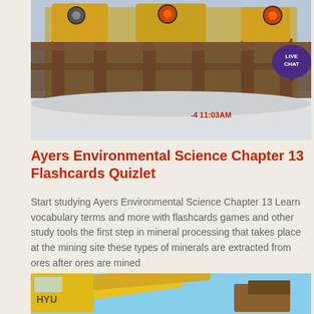[Figure (photo): Industrial mining equipment with yellow machinery and metal framework structures, with a timestamp overlay reading -4 11:03AM in red]
Ayers Environmental Science Chapter 13 Flashcards Quizlet
Start studying Ayers Environmental Science Chapter 13 Learn vocabulary terms and more with flashcards games and other study tools the first step in mineral processing that takes place at the mining site these types of minerals are extracted from ores after ores are mined
[Figure (photo): Yellow Hyundai excavator arm against a blue sky with construction equipment]